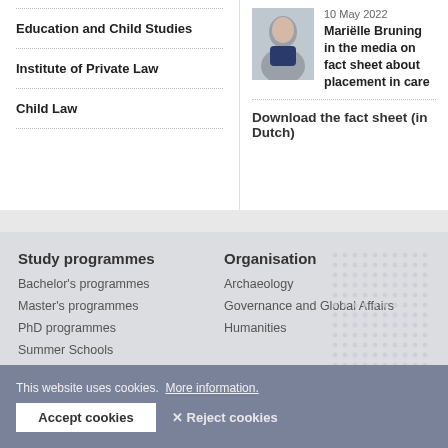Education and Child Studies
Institute of Private Law
Child Law
[Figure (photo): Headshot photo of Mariëlle Bruning]
10 May 2022
Mariëlle Bruning in the media on fact sheet about placement in care
Download the fact sheet (in Dutch)
Study programmes
Bachelor's programmes
Master's programmes
PhD programmes
Summer Schools
Organisation
Archaeology
Governance and Global Affairs
Humanities
This website uses cookies.  More information.
Accept cookies
✕ Reject cookies